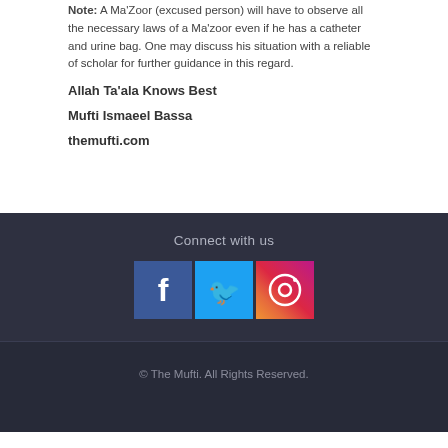Note: A Ma'Zoor (excused person) will have to observe all the necessary laws of a Ma'zoor even if he has a catheter and urine bag. One may discuss his situation with a reliable of scholar for further guidance in this regard.
Allah Ta'ala Knows Best
Mufti Ismaeel Bassa
themufti.com
Connect with us
[Figure (infographic): Three social media icons: Facebook (blue), Twitter (light blue), Instagram (gradient)]
© The Mufti. All Rights Reserved.